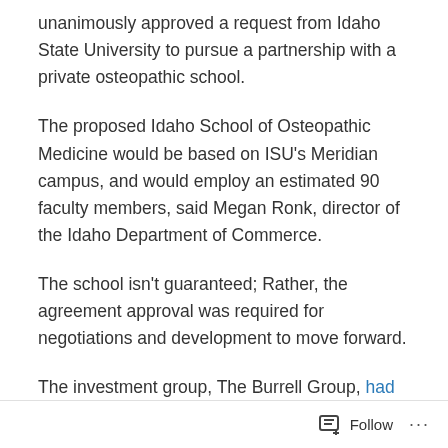unanimously approved a request from Idaho State University to pursue a partnership with a private osteopathic school.
The proposed Idaho School of Osteopathic Medicine would be based on ISU's Meridian campus, and would employ an estimated 90 faculty members, said Megan Ronk, director of the Idaho Department of Commerce.
The school isn't guaranteed; Rather, the agreement approval was required for negotiations and development to move forward.
The investment group, The Burrell Group, had previously considered Montana State University as an affiliate school, but those negotiations ended in December. One concern
Follow ···